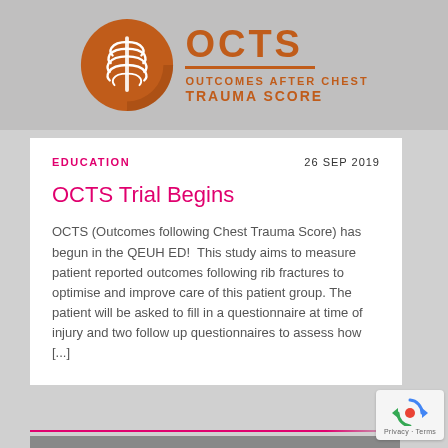[Figure (logo): OCTS (Outcomes After Chest Trauma Score) logo — orange circular badge with ribcage icon and text]
EDUCATION
26 SEP 2019
OCTS Trial Begins
OCTS (Outcomes following Chest Trauma Score) has begun in the QEUH ED!  This study aims to measure patient reported outcomes following rib fractures to optimise and improve care of this patient group. The patient will be asked to fill in a questionnaire at time of injury and two follow up questionnaires to assess how [...]